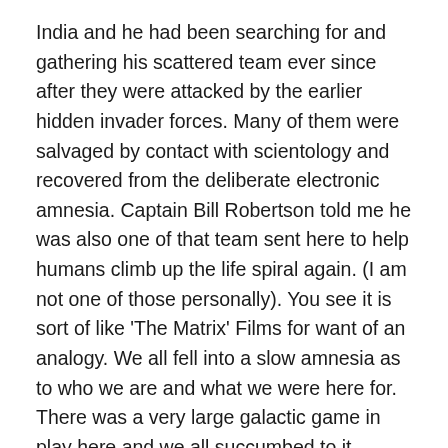India and he had been searching for and gathering his scattered team ever since after they were attacked by the earlier hidden invader forces. Many of them were salvaged by contact with scientology and recovered from the deliberate electronic amnesia. Captain Bill Robertson told me he was also one of that team sent here to help humans climb up the life spiral again. (I am not one of those personally). You see it is sort of like 'The Matrix' Films for want of an analogy. We all fell into a slow amnesia as to who we are and what we were here for. There was a very large galactic game in play here and we all succumbed to it because of our growing obsession with carbon-oxygen corporeal bodies and sex. We committed 'overts' (sins) against bodies and so